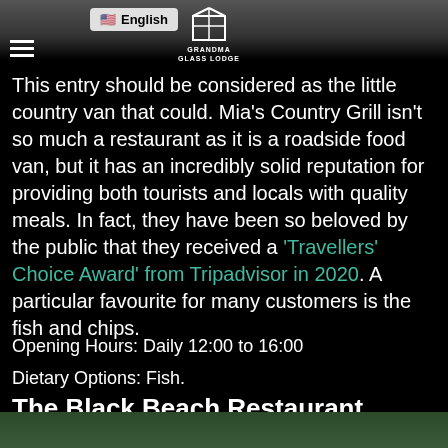[Figure (screenshot): Top portion of a dark webpage with a photo background, English language selector badge, hamburger menu icon, and a lodge logo (GRANDMA GLASS LODGE)]
This entry should be considered as the little country van that could. Mia's Country Grill isn't so much a restaurant as it is a roadside food van, but it has an incredibly solid reputation for providing both tourists and locals with quality meals. In fact, they have been so beloved by the public that they received a 'Travellers' Choice Award' from Tripadvisor in 2020. A particular favourite for many customers is the fish and chips.
Opening Hours: Daily 12:00 to 16:00
Dietary Options: Fish.
The Black Beach Restaurant, Reynisfjara
[Figure (photo): Bottom partial image of a green landscape or beach scene]